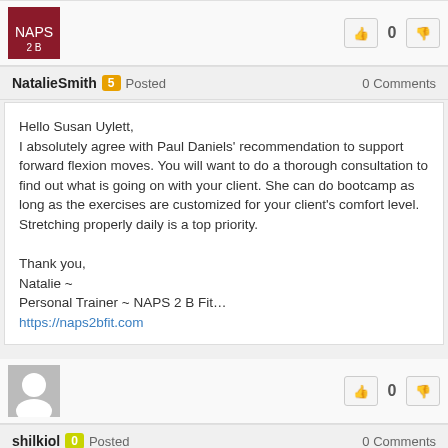NatalieSmith 5 Posted  0 Comments
Hello Susan Uylett,
I absolutely agree with Paul Daniels' recommendation to support forward flexion moves. You will want to do a thorough consultation to find out what is going on with your client. She can do bootcamp as long as the exercises are customized for your client's comfort level. Stretching properly daily is a top priority.

Thank you,
Natalie ~
Personal Trainer ~ NAPS 2 B Fit…
https://naps2bfit.com
shilkiol 0 Posted  0 Comments
I would like to advise you a great service for those who like to send a bunch of messages to their friends or partners. Now it will be extremely easy for you to do massmailsoftware.com:
https://www.massmailsoftware.com/tracker/!